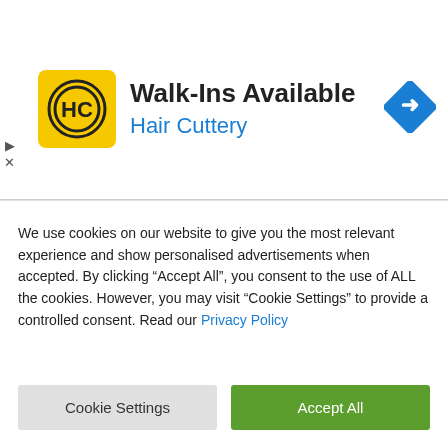[Figure (infographic): Hair Cuttery advertisement banner with yellow logo, 'Walk-Ins Available' title, blue 'Hair Cuttery' subtitle, and a blue diamond direction arrow icon]
rd will stop selling loot boxes in Overwatch this month
Netflix will double its mobile game offer this year
Snapchat goes live with parental controls
WhatsApp gives users 2.5 days to delete messages
WhatsApp gets setting to hide ‘online now’ status this month
We use cookies on our website to give you the most relevant experience and show personalised advertisements when accepted. By clicking “Accept All”, you consent to the use of ALL the cookies. However, you may visit “Cookie Settings” to provide a controlled consent. Read our Privacy Policy